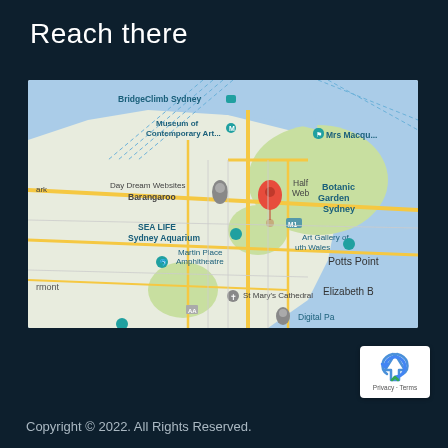Reach there
[Figure (map): Google Maps screenshot showing central Sydney, Australia, with landmarks including BridgeClimb Sydney, Museum of Contemporary Art, Day Dream Websites, Barangaroo, SEA LIFE Sydney Aquarium, Martin Place Amphitheatre, Half Web, Botanic Garden Sydney, Art Gallery of NSW, St Mary's Cathedral, Potts Point, Elizabeth B, Digital Pa, Mrs Macquarie's Chair. A red location pin is placed near the city center.]
[Figure (logo): Google reCAPTCHA badge with recycling arrow logo and 'Privacy - Terms' text]
Copyright © 2022. All Rights Reserved.